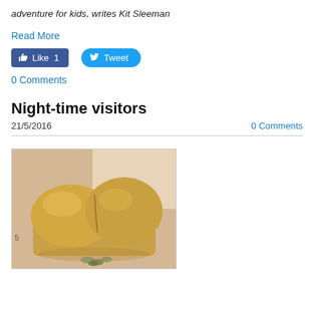adventure for kids, writes Kit Sleeman
Read More
[Figure (screenshot): Social media buttons: Facebook Like (count: 1) and Twitter Tweet buttons]
0 Comments
Night-time visitors
21/5/2016   0 Comments
[Figure (photo): Photo of a bread loaf with coins scattered in front of it on a beige background]